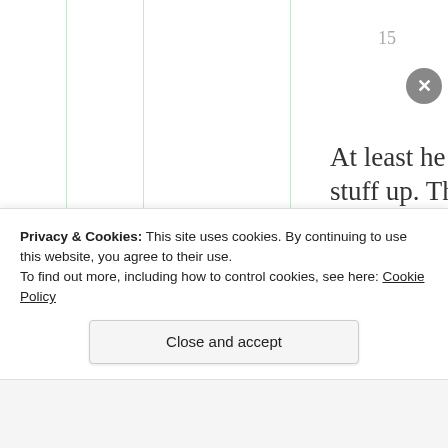15
At least he looks stuff up. There are some bad vets out there. It’s very disheartenin…
Privacy & Cookies: This site uses cookies. By continuing to use this website, you agree to their use.
To find out more, including how to control cookies, see here: Cookie Policy
Close and accept